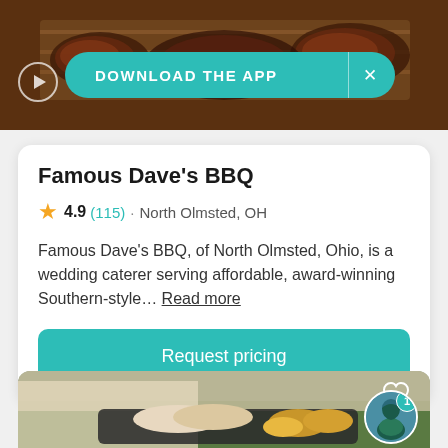[Figure (screenshot): Top banner image showing BBQ food on a wooden board with a 'DOWNLOAD THE APP' teal banner overlay and a play button icon]
Famous Dave's BBQ
4.9 (115) · North Olmsted, OH
Famous Dave's BBQ, of North Olmsted, Ohio, is a wedding caterer serving affordable, award-winning Southern-style… Read more
Request pricing
[Figure (photo): Bottom image showing a person in white gloves holding a tray of sliced meat and bread rolls outdoors, with a teal avatar badge with notification number 1]